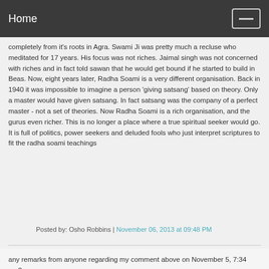Home
completely from it's roots in Agra. Swami Ji was pretty much a recluse who meditated for 17 years. His focus was not riches. Jaimal singh was not concerned with riches and in fact told sawan that he would get bound if he started to build in Beas. Now, eight years later, Radha Soami is a very different organisation. Back in 1940 it was impossible to imagine a person 'giving satsang' based on theory. Only a master would have given satsang. In fact satsang was the company of a perfect master - not a set of theories. Now Radha Soami is a rich organisation, and the gurus even richer. This is no longer a place where a true spiritual seeker would go. It is full of politics, power seekers and deluded fools who just interpret scriptures to fit the radha soami teachings
Posted by: Osho Robbins | November 06, 2013 at 09:48 PM
any remarks from anyone regarding my comment above on November 5, 7:34 pm?